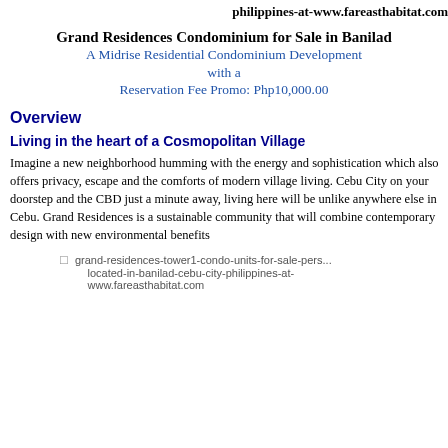philippines-at-www.fareasthabitat.com
Grand Residences Condominium for Sale in Banilad
A Midrise Residential Condominium Development with a Reservation Fee Promo: Php10,000.00
Overview
Living in the heart of a Cosmopolitan Village
Imagine a new neighborhood humming with the energy and sophistication which also offers privacy, escape and the comforts of modern village living. Cebu City on your doorstep and the CBD just a minute away, living here will be unlike anywhere else in Cebu. Grand Residences is a sustainable community that will combine contemporary design with new environmental benefits
[Figure (photo): grand-residences-tower1-condo-units-for-sale-perspective located-in-banilad-cebu-city-philippines-at-www.fareasthabitat.com]